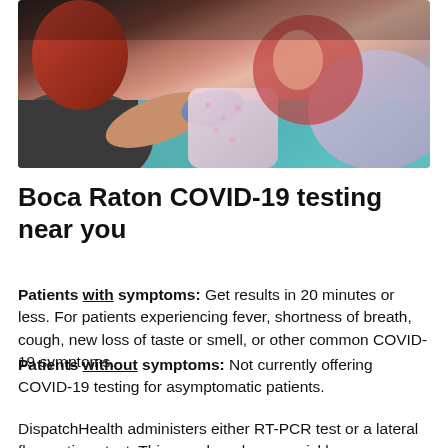[Figure (photo): Healthcare worker with gloved hand examining or treating a child patient in what appears to be a home or clinical setting with a teal/blue colored surface visible]
Boca Raton COVID-19 testing near you
Patients with symptoms: Get results in 20 minutes or less. For patients experiencing fever, shortness of breath, cough, new loss of taste or smell, or other common COVID-19 symptoms.
Patients without symptoms: Not currently offering COVID-19 testing for asymptomatic patients.
DispatchHealth administers either RT-PCR test or a lateral flow antigen test. Thin nasal swabs are quickly